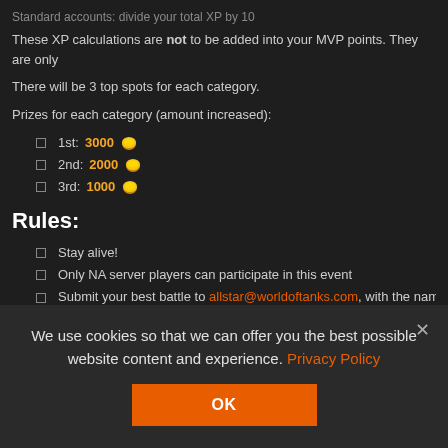Standard accounts: divide your total XP by 10
These XP calculations are not to be added into your MVP points. They are only
There will be 3 top spots for each category.
Prizes for each category (amount increased):
1st: 3000 [gold]
2nd: 2000 [gold]
3rd: 1000 [gold]
Rules:
Stay alive!
Only NA server players can participate in this event
Submit your best battle to allstar@worldoftanks.com, with the name of the ta
Only one battle can be submitted
We use cookies so that we can offer you the best possible website content and experience. Privacy Policy
OK